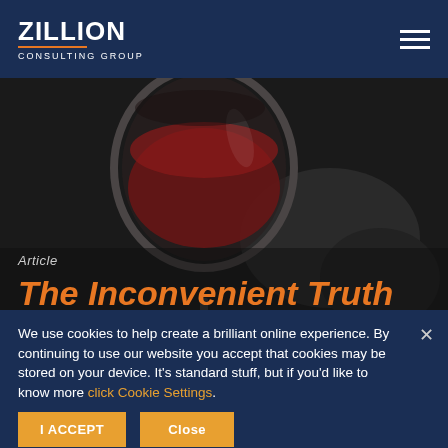ZILLION CONSULTING GROUP
[Figure (photo): Close-up photo of a red wine glass against a dark blurred background]
Article
The Inconvenient Truth About Change
We use cookies to help create a brilliant online experience. By continuing to use our website you accept that cookies may be stored on your device. It's standard stuff, but if you'd like to know more click Cookie Settings.
I ACCEPT   Close
Taiichi Ohno: "Stan